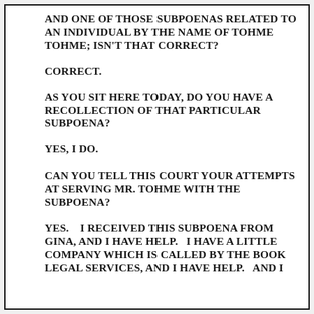AND ONE OF THOSE SUBPOENAS RELATED TO AN INDIVIDUAL BY THE NAME OF TOHME TOHME; ISN'T THAT CORRECT?
CORRECT.
AS YOU SIT HERE TODAY, DO YOU HAVE A RECOLLECTION OF THAT PARTICULAR SUBPOENA?
YES, I DO.
CAN YOU TELL THIS COURT YOUR ATTEMPTS AT SERVING MR. TOHME WITH THE SUBPOENA?
YES.   I RECEIVED THIS SUBPOENA FROM GINA, AND I HAVE HELP.   I HAVE A LITTLE COMPANY WHICH IS CALLED BY THE BOOK LEGAL SERVICES, AND I HAVE HELP.   AND I